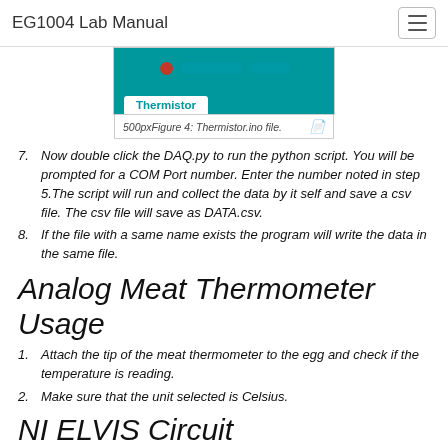EG1004 Lab Manual
[Figure (screenshot): Screenshot showing the Thermistor.ino file open in the Arduino IDE with a teal background and a white tab labeled 'Thermistor']
500px Figure 4: Thermistor.ino file.
7. Now double click the DAQ.py to run the python script. You will be prompted for a COM Port number. Enter the number noted in step 5.The script will run and collect the data by it self and save a csv file. The csv file will save as DATA.csv.
8. If the file with a same name exists the program will write the data in the same file.
Analog Meat Thermometer Usage
1. Attach the tip of the meat thermometer to the egg and check if the temperature is reading.
2. Make sure that the unit selected is Celsius.
NI ELVIS Circuit